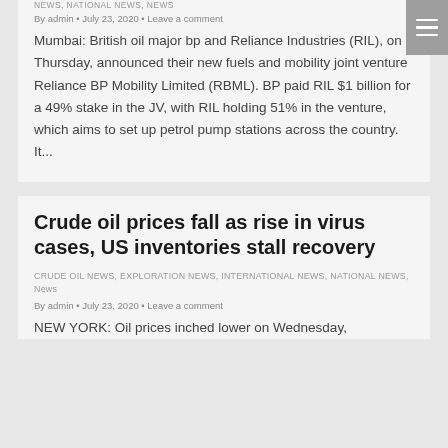NEWS, NATIONAL NEWS, NEWS
By admin • July 23, 2020 • Leave a comment
Mumbai: British oil major bp and Reliance Industries (RIL), on Thursday, announced their new fuels and mobility joint venture Reliance BP Mobility Limited (RBML). BP paid RIL $1 billion for a 49% stake in the JV, with RIL holding 51% in the venture, which aims to set up petrol pump stations across the country. It...
Crude oil prices fall as rise in virus cases, US inventories stall recovery
CRUDE OIL NEWS, EXPLORATION NEWS, INTERNATIONAL NEWS, NATIONAL NEWS, News
By admin • July 23, 2020 • Leave a comment
NEW YORK: Oil prices inched lower on Wednesday,